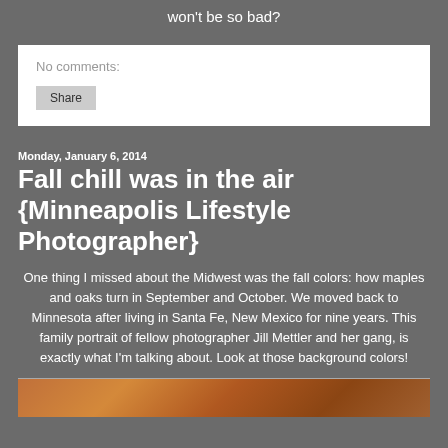won't be so bad?
No comments:
Share
Monday, January 6, 2014
Fall chill was in the air {Minneapolis Lifestyle Photographer}
One thing I missed about the Midwest was the fall colors: how maples and oaks turn in September and October. We moved back to Minnesota after living in Santa Fe, New Mexico for nine years. This family portrait of fellow photographer Jill Mettler and her gang, is exactly what I'm talking about. Look at those background colors!
[Figure (photo): Bottom strip of a fall colors photo, showing orange and brown autumn foliage]